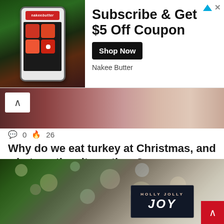[Figure (screenshot): Advertisement banner for Nakee Butter showing a phone with the app and text: Subscribe & Get $5 Off Coupon, Shop Now, Nakee Butter]
[Figure (photo): Partial photo of a person lying down, cropped at top of content area with a back-arrow chevron button overlaid]
0  26
Why do we eat turkey at Christmas, and what are the alternatives?
We Brits love our traditions, but how did the turkey nest itself in our Christmas culture, and is this really…
Read More »
[Figure (photo): Blurred bokeh photo of Christmas tree lights with a Holly Jolly JOY sign in the foreground]